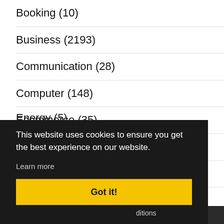Booking (10)
Business (2193)
Communication (28)
Computer (148)
Ecommerce (35)
Education (449)
Electronics (91)
Energy (5)
This website uses cookies to ensure you get the best experience on our website.
Learn more
Got it!
ditions